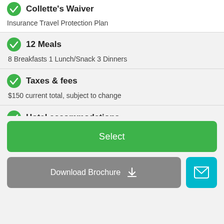Collette's Waiver
Insurance Travel Protection Plan
12 Meals
8 Breakfasts 1 Lunch/Snack 3 Dinners
Taxes & fees
$150 current total, subject to change
Hotel accommodations
Led by Mary Beth Kurasek
Meals
not noted on itinerary
Select
Download Brochure